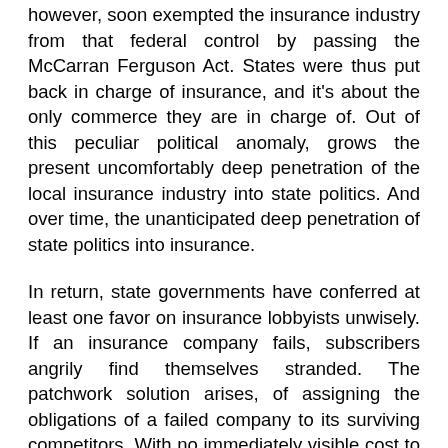however, soon exempted the insurance industry from that federal control by passing the McCarran Ferguson Act. States were thus put back in charge of insurance, and it's about the only commerce they are in charge of. Out of this peculiar political anomaly, grows the present uncomfortably deep penetration of the local insurance industry into state politics. And over time, the unanticipated deep penetration of state politics into insurance.
In return, state governments have conferred at least one favor on insurance lobbyists unwisely. If an insurance company fails, subscribers angrily find themselves stranded. The patchwork solution arises, of assigning the obligations of a failed company to its surviving competitors. With no immediately visible cost to the taxpayers, that seems to rescue the subscribers. But it removes any point to competition, eventually raises premium prices, and overall, broadcasts moral hazard. That is, it doesn't matter how badly they